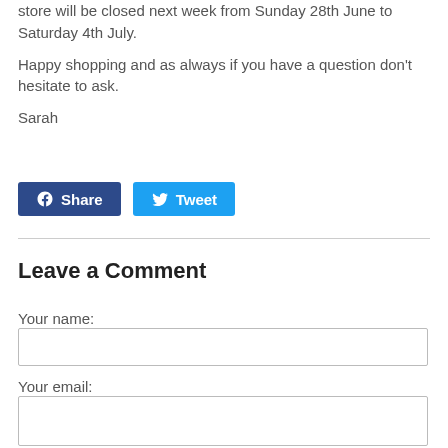store will be closed next week from Sunday 28th June to Saturday 4th July.
Happy shopping and as always if you have a question don't hesitate to ask.
Sarah
[Figure (other): Facebook Share button and Twitter Tweet button side by side]
Leave a Comment
Your name:
Your email: